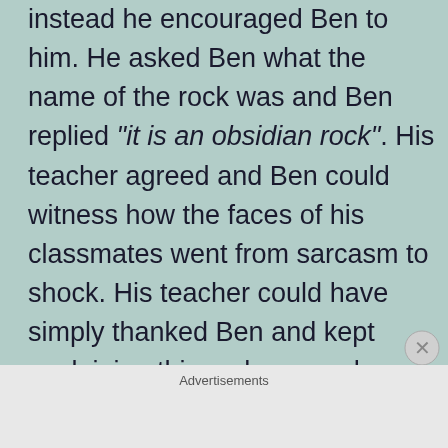instead he encouraged Ben to him.  He asked Ben what the name of the rock was and Ben replied "it is an obsidian rock".  His teacher agreed and Ben could witness how the faces of his classmates went from sarcasm to shock.  His teacher could have simply thanked Ben and kept explaining things, however he asked Ben if there was anything else he knew about Obsidian Rocks, which of course Ben did!  He started giving a lecture about Obsidian rocks while his classmates looked at him in awe.
Advertisements